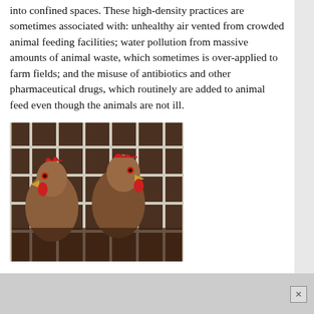into confined spaces. These high-density practices are sometimes associated with: unhealthy air vented from crowded animal feeding facilities; water pollution from massive amounts of animal waste, which sometimes is over-applied to farm fields; and the misuse of antibiotics and other pharmaceutical drugs, which routinely are added to animal feed even though the animals are not ill.
[Figure (photo): Chickens crowded in wire cages, close-up photo showing hens pressed against cage bars]
... The wording of Issue 2 can potentially block new air, water, and food standards in the name of “affordable food supplies.” More rigorous environmental protections, such as increased distance set-backs...